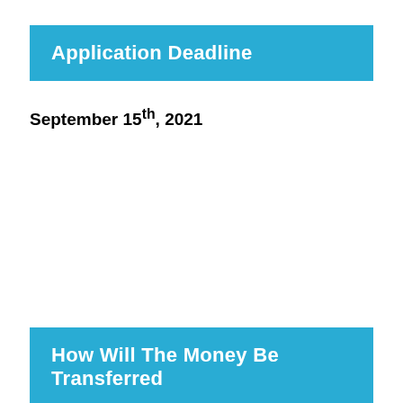Application Deadline
September 15th, 2021
How Will The Money Be Transferred